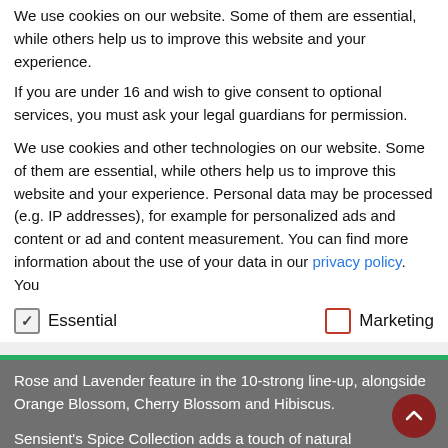We use cookies on our website. Some of them are essential, while others help us to improve this website and your experience.
If you are under 16 and wish to give consent to optional services, you must ask your legal guardians for permission.
We use cookies and other technologies on our website. Some of them are essential, while others help us to improve this website and your experience. Personal data may be processed (e.g. IP addresses), for example for personalized ads and content or ad and content measurement. You can find more information about the use of your data in our privacy policy. You
Essential   Marketing
Rose and Lavender feature in the 10-strong line-up, alongside Orange Blossom, Cherry Blossom and Hibiscus.
Sensient's Spice Collection adds a touch of natural sophistication and complexity. A modern twist places Black Pepper, Pink Peppercorn, Star Anise, Clove Bud and Saffron firmly in the beverage arena, while their inherent heat means that Cinnamon, Capsicum, Cardamom and Liquorice are the